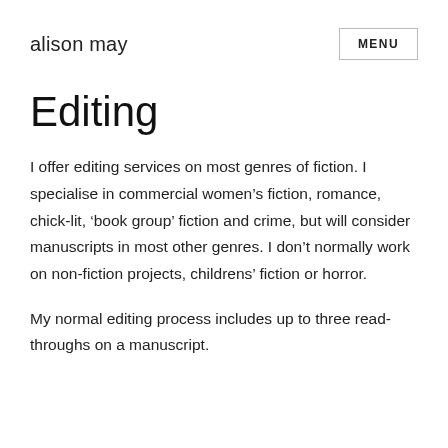alison may
Editing
I offer editing services on most genres of fiction. I specialise in commercial women's fiction, romance, chick-lit, ‘book group’ fiction and crime, but will consider manuscripts in most other genres. I don’t normally work on non-fiction projects, childrens’ fiction or horror.
My normal editing process includes up to three read-throughs on a manuscript.